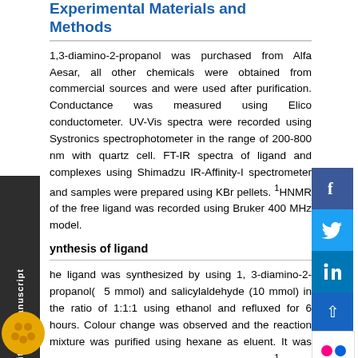Experimental Materials and Methods
1,3-diamino-2-propanol was purchased from Alfa Aesar, all other chemicals were obtained from commercial sources and were used after purification. Conductance was measured using Elico conductometer. UV-Vis spectra were recorded using Systronics spectrophotometer in the range of 200-800 nm with quartz cell. FT-IR spectra of ligand and complexes using Shimadzu IR-Affinity-I spectrometer and samples were prepared using KBr pellets. ¹HNMR of the ligand was recorded using Bruker 400 MHz model.
Synthesis of ligand
The ligand was synthesized by using 1, 3-diamino-2- propanol( 5 mmol) and salicylaldehyde (10 mmol) in the ratio of 1:1:1 using ethanol and refluxed for 6 hours. Colour change was observed and the reaction mixture was purified using hexane as eluent. It was characterized by UV-Vis, FT-IR and ¹HNMR spectroscopy.
Synthesis of Nickel (II) Precursors
The Nickel(II) precursors were synthesized by using organic acid such as benzoic acid and paramethoxy benzoic acid( 10 mmol) with NaOH( 20 mmol) and NiSO₄.6H₂O( 20 mmol) was added to above mixture and refluxed. The ratio of organic acid, base and metal was taken as 1:2:2 for the synthesis.